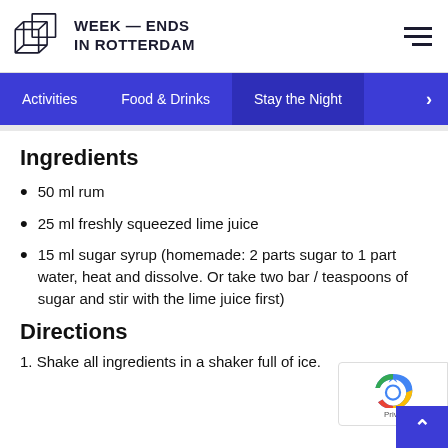WEEK — ENDS IN ROTTERDAM
Ingredients
50 ml rum
25 ml freshly squeezed lime juice
15 ml sugar syrup (homemade: 2 parts sugar to 1 part water, heat and dissolve. Or take two bar / teaspoons of sugar and stir with the lime juice first)
Directions
1. Shake all ingredients in a shaker full of ice.